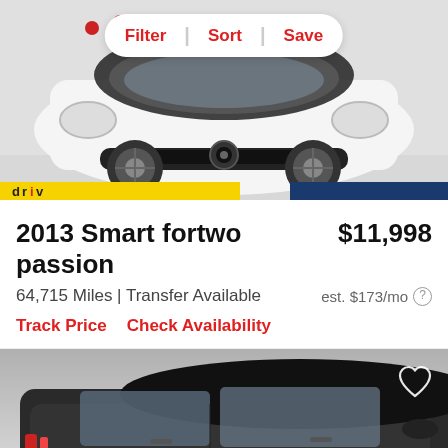[Figure (photo): White Smart fortwo passion car viewed from front-left angle, with yellow and blue dealer strips at bottom]
2013 Smart fortwo passion
$11,998
64,715 Miles | Transfer Available
est. $173/mo
Track Price   Check Availability
[Figure (photo): Dark grey/black Smart car viewed from rear-left angle, with heart/favorite icon in top right]